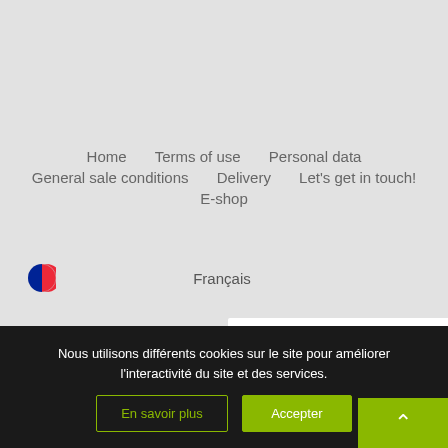Home    Terms of use    Personal data
General sale conditions    Delivery    Let's get in touch!
E-shop
Français
[Figure (screenshot): SUPPORT panel — white rectangle with green bold SUPPORT text]
Nous utilisons différents cookies sur le site pour améliorer l'interactivité du site et des services.
En savoir plus
Accepter